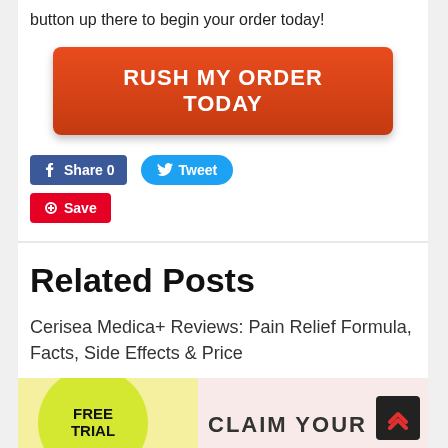button up there to begin your order today!
[Figure (other): Red button with white bold uppercase text: RUSH MY ORDER TODAY]
[Figure (other): Social sharing buttons: Facebook Share 0, Tweet, Save]
Related Posts
Cerisea Medica+ Reviews: Pain Relief Formula, Facts, Side Effects & Price
[Figure (other): Image showing a yellow FREE TRIAL circle badge on the left and a pink background with CLAIM YOUR FR... text on the right]